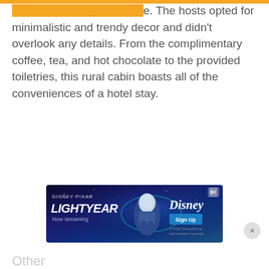fantastic place to call home. The hosts opted for minimalistic and trendy decor and didn't overlook any details. From the complimentary coffee, tea, and hot chocolate to the provided toiletries, this rural cabin boasts all of the conveniences of a hotel stay.
[Figure (other): Disney Pixar Lightyear advertisement banner — 'Now streaming' with Buzz Lightyear character, Disney+ Sign Up button]
Other